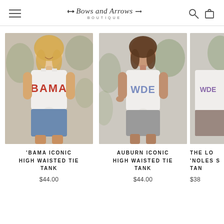Bows and Arrows Boutique — navigation header with hamburger menu, logo, search and cart icons
[Figure (photo): Young woman wearing a white 'BAMA' tie-front tank top with denim cut-off shorts, outdoors]
'BAMA ICONIC HIGH WAISTED TIE TANK
$44.00
[Figure (photo): Young woman wearing a white 'WDE' (Auburn) tie-front tank top with grey shorts, outdoors]
AUBURN ICONIC HIGH WAISTED TIE TANK
$44.00
[Figure (photo): Partially visible product photo of a third tank top (The Lo 'Noles S... Tan...)]
THE LO 'NOLES S TAN
$38